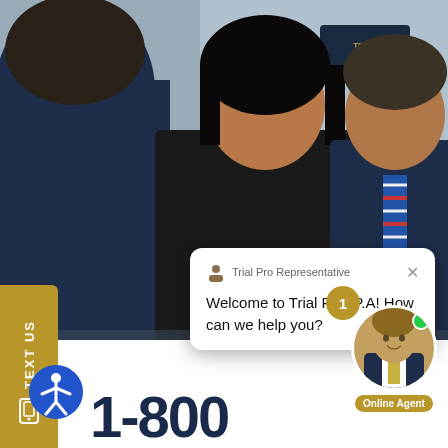[Figure (photo): Law firm consultation photo showing three people in a meeting: a woman in black and two men in dark suits, used as website hero background image for Trial Pro P.A. law firm]
TEXT US
Trial Pro Representative
Welcome to Trial Pro, P.A! How can we help you?
1
Online Agent
1-800